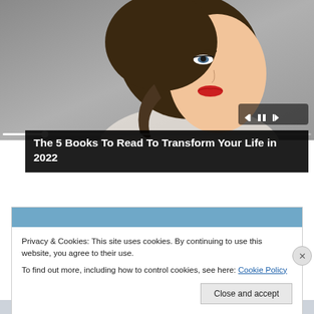[Figure (photo): Photo of a young woman with braided hair, red lipstick, looking upward, with gray brick background. Media player controls and progress bar overlaid at bottom.]
The 5 Books To Read To Transform Your Life in 2022
Privacy & Cookies: This site uses cookies. By continuing to use this website, you agree to their use.
To find out more, including how to control cookies, see here: Cookie Policy
Close and accept